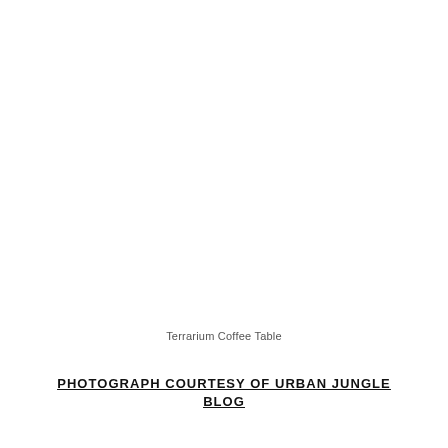Terrarium Coffee Table
PHOTOGRAPH COURTESY OF URBAN JUNGLE BLOG